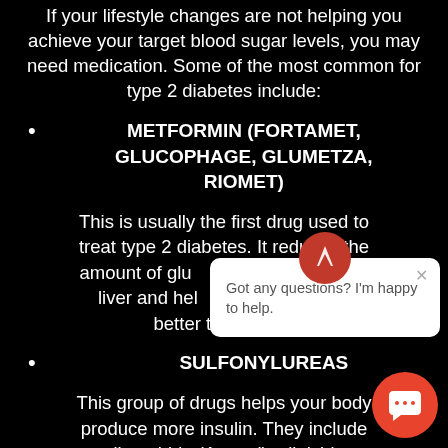If your lifestyle changes are not helping you achieve your target blood sugar levels, you may need medication. Some of the most common for type 2 diabetes include:
METFORMIN (FORTAMET, GLUCOPHAGE, GLUMETZA, RIOMET)
This is usually the first drug used to treat type 2 diabetes. It reduces the amount of glucose produced by the liver and helps the body respond better to the insulin.
SULFONYLUREAS
This group of drugs helps your body produce more insulin. They include glimepiride (Amaryl), glipizide